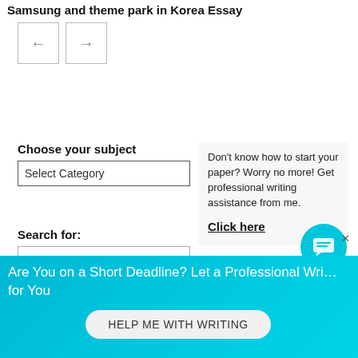Samsung and theme park in Korea Essay
[Figure (other): Navigation left and right arrow buttons]
Choose your subject
Select Category
Search for:
Don't know how to start your paper? Worry no more! Get professional writing assistance from me.
Click here
Are You on a Short Deadline? Let a Professional Write for You
HELP ME WITH WRITING